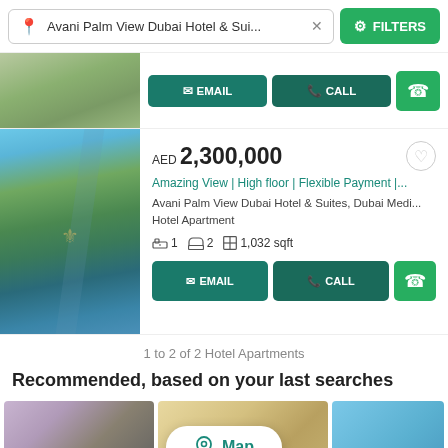Avani Palm View Dubai Hotel & Sui... × FILTERS
[Figure (screenshot): Partial aerial view listing image with EMAIL, CALL, WhatsApp action buttons]
AED 2,300,000
Amazing View | High floor | Flexible Payment |...
Avani Palm View Dubai Hotel & Suites, Dubai Medi... Hotel Apartment
1  2  1,032 sqft
EMAIL  CALL  WhatsApp
1 to 2 of 2 Hotel Apartments
Recommended, based on your last searches
[Figure (screenshot): Bottom row of property thumbnails with Map button overlay]